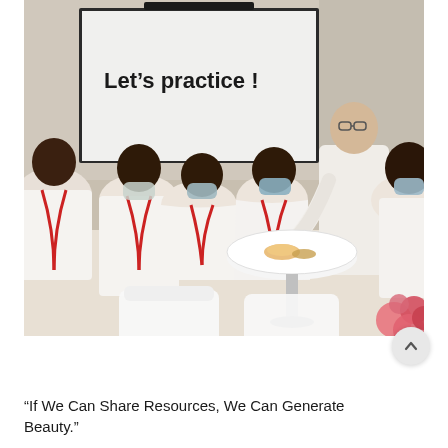[Figure (photo): A training session in a bright room. Several people wearing white uniforms and surgical face masks are gathered around a white round table, working on a practical exercise. A projector screen in the background displays the text 'Let's practice !' in bold. An instructor wearing glasses leans over the table to assist the participants.]
“If We Can Share Resources, We Can Generate Beauty.”